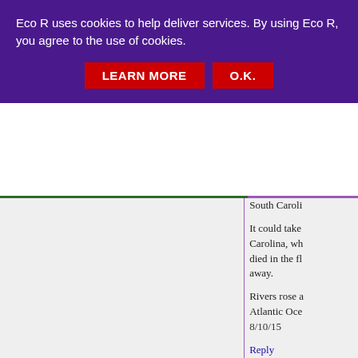Eco R uses cookies to help deliver services. By using Eco R, you agree to the use of cookies.
LEARN MORE   O.K.
South Caroli...
It could take Carolina, wh... died in the fl... away.
Rivers rose a... Atlantic Oce... 8/10/15
Reply
Anonymous
Less snow in...